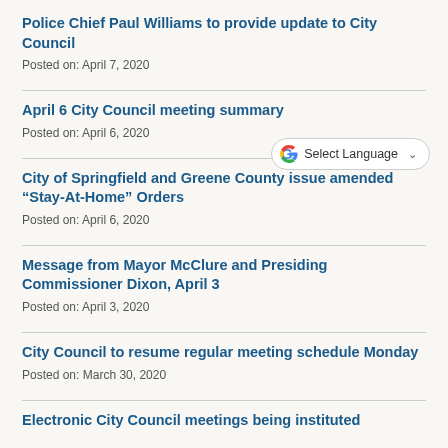Police Chief Paul Williams to provide update to City Council
Posted on: April 7, 2020
April 6 City Council meeting summary
Posted on: April 6, 2020
[Figure (other): Google Translate Select Language widget with G logo and dropdown arrow]
City of Springfield and Greene County issue amended “Stay-At-Home” Orders
Posted on: April 6, 2020
Message from Mayor McClure and Presiding Commissioner Dixon, April 3
Posted on: April 3, 2020
City Council to resume regular meeting schedule Monday
Posted on: March 30, 2020
Electronic City Council meetings being instituted